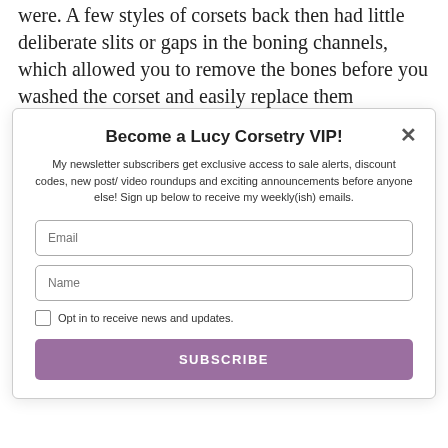were. A few styles of corsets back then had little deliberate slits or gaps in the boning channels, which allowed you to remove the bones before you washed the corset and easily replace them
Become a Lucy Corsetry VIP!
My newsletter subscribers get exclusive access to sale alerts, discount codes, new post/ video roundups and exciting announcements before anyone else! Sign up below to receive my weekly(ish) emails.
Email
Name
Opt in to receive news and updates.
SUBSCRIBE